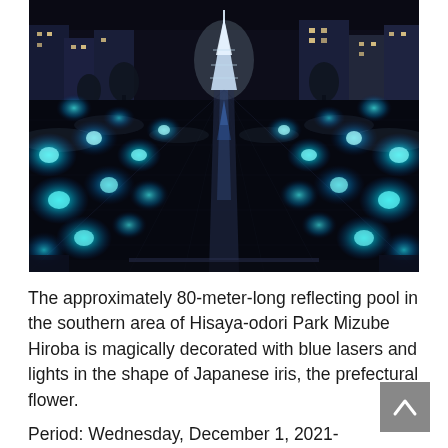[Figure (photo): Night photo of an approximately 80-meter-long reflecting pool at Hisaya-odori Park Mizube Hiroba in Nagoya, Japan. The dark pool is decorated with glowing blue laser lights in the shape of Japanese iris flowers, with mist rising around them. A tall illuminated tower structure is visible at the far end of the pool, with city buildings lit up in the background.]
The approximately 80-meter-long reflecting pool in the southern area of Hisaya-odori Park Mizube Hiroba is magically decorated with blue lasers and lights in the shape of Japanese iris, the prefectural flower.
Period: Wednesday, December 1, 2021-